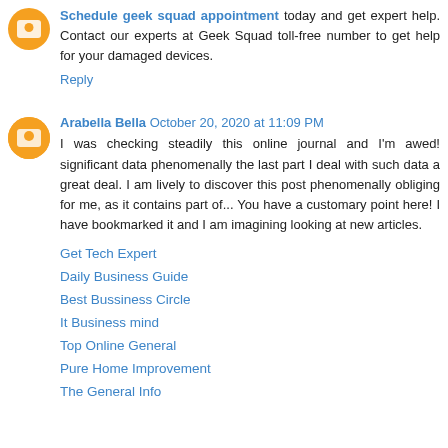Schedule geek squad appointment today and get expert help. Contact our experts at Geek Squad toll-free number to get help for your damaged devices.
Reply
Arabella Bella October 20, 2020 at 11:09 PM
I was checking steadily this online journal and I'm awed! significant data phenomenally the last part I deal with such data a great deal. I am lively to discover this post phenomenally obliging for me, as it contains part of... You have a customary point here! I have bookmarked it and I am imagining looking at new articles.
Get Tech Expert
Daily Business Guide
Best Bussiness Circle
It Business mind
Top Online General
Pure Home Improvement
The General Info